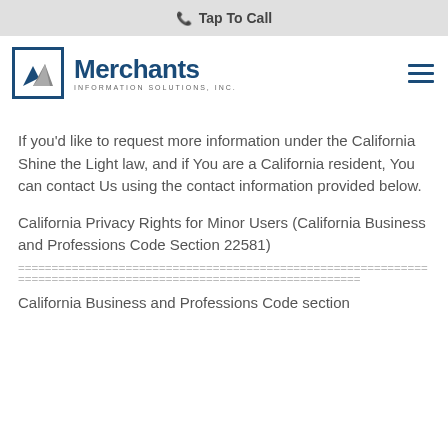Tap To Call
[Figure (logo): Merchants Information Solutions, Inc. logo — mountain peaks icon in a blue square box, with 'Merchants' in large dark blue bold text and 'INFORMATION SOLUTIONS, INC.' in small caps below]
If you'd like to request more information under the California Shine the Light law, and if You are a California resident, You can contact Us using the contact information provided below.
California Privacy Rights for Minor Users (California Business and Professions Code Section 22581)
================================================
California Business and Professions Code section